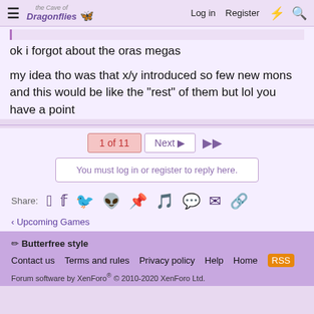The Cave of Dragonflies — Log in  Register
ok i forgot about the oras megas
my idea tho was that x/y introduced so few new mons and this would be like the "rest" of them but lol you have a point
1 of 11  Next ▶  ▶▶
You must log in or register to reply here.
Share:
< Upcoming Games
🖊 Butterfree style
Contact us  Terms and rules  Privacy policy  Help  Home
Forum software by XenForo® © 2010-2020 XenForo Ltd.